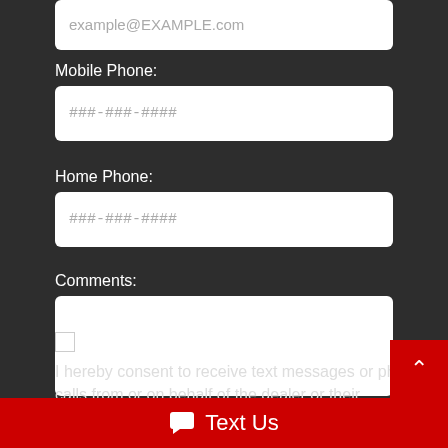example@EXAMPLE.com
Mobile Phone:
###-###-####
Home Phone:
###-###-####
Comments:
ACKNOWLEDGMENT AND CONSENT: I hereby consent to receive text messages or phone calls from or on behalf of the dealer or their employees to the mobile phone number I provided above. By opting in, I understand that
Text Us